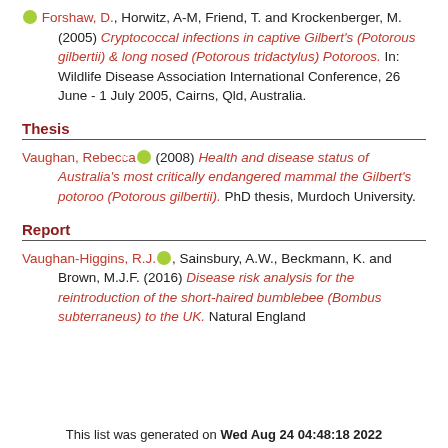[orcid] Forshaw, D., Horwitz, A-M, Friend, T. and Krockenberger, M. (2005) Cryptococcal infections in captive Gilbert's (Potorous gilbertii) & long nosed (Potorous tridactylus) Potoroos. In: Wildlife Disease Association International Conference, 26 June - 1 July 2005, Cairns, Qld, Australia.
Thesis
Vaughan, Rebecca [orcid] (2008) Health and disease status of Australia's most critically endangered mammal the Gilbert's potoroo (Potorous gilbertii). PhD thesis, Murdoch University.
Report
Vaughan-Higgins, R.J. [orcid], Sainsbury, A.W., Beckmann, K. and Brown, M.J.F. (2016) Disease risk analysis for the reintroduction of the short-haired bumblebee (Bombus subterraneus) to the UK. Natural England
This list was generated on Wed Aug 24 04:48:18 2022